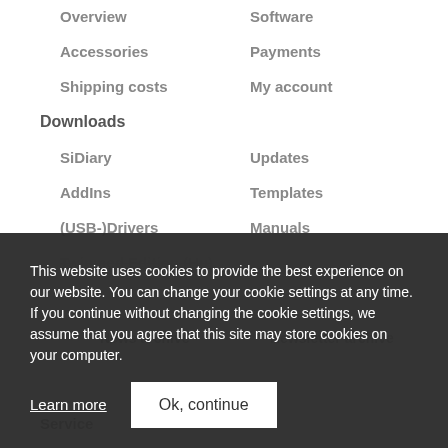Overview
Software
Accessories
Payments
Shipping costs
My account
Downloads
SiDiary
Updates
AddIns
Templates
(USB-)Drivers
Manuals
Twinmed Edition (Hu)
News archive
Newsletter archive
Service
This website uses cookies to provide the best experience on our website. You can change your cookie settings at any time. If you continue without changing the cookie settings, we assume that you agree that this site may store cookies on your computer.
Learn more
Ok, continue